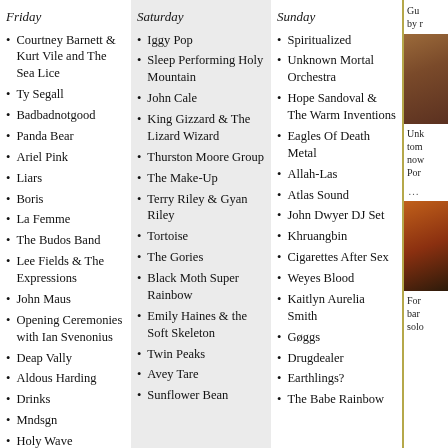Friday
Courtney Barnett & Kurt Vile and The Sea Lice
Ty Segall
Badbadnotgood
Panda Bear
Ariel Pink
Liars
Boris
La Femme
The Budos Band
Lee Fields & The Expressions
John Maus
Opening Ceremonies with Ian Svenonius
Deap Vally
Aldous Harding
Drinks
Mndsgn
Holy Wave
Froth
Emel
Saturday
Iggy Pop
Sleep Performing Holy Mountain
John Cale
King Gizzard & The Lizard Wizard
Thurston Moore Group
The Make-Up
Terry Riley & Gyan Riley
Tortoise
The Gories
Black Moth Super Rainbow
Emily Haines & the Soft Skeleton
Twin Peaks
Avey Tare
Sunflower Bean
Sunday
Spiritualized
Unknown Mortal Orchestra
Hope Sandoval & The Warm Inventions
Eagles Of Death Metal
Allah-Las
Atlas Sound
John Dwyer DJ Set
Khruangbin
Cigarettes After Sex
Weyes Blood
Kaitlyn Aurelia Smith
Gøggs
Drugdealer
Earthlings?
The Babe Rainbow